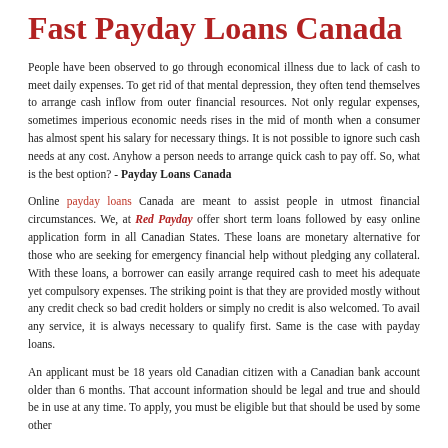Fast Payday Loans Canada
People have been observed to go through economical illness due to lack of cash to meet daily expenses. To get rid of that mental depression, they often tend themselves to arrange cash inflow from outer financial resources. Not only regular expenses, sometimes imperious economic needs rises in the mid of month when a consumer has almost spent his salary for necessary things. It is not possible to ignore such cash needs at any cost. Anyhow a person needs to arrange quick cash to pay off. So, what is the best option? - Payday Loans Canada
Online payday loans Canada are meant to assist people in utmost financial circumstances. We, at Red Payday offer short term loans followed by easy online application form in all Canadian States. These loans are monetary alternative for those who are seeking for emergency financial help without pledging any collateral. With these loans, a borrower can easily arrange required cash to meet his adequate yet compulsory expenses. The striking point is that they are provided mostly without any credit check so bad credit holders or simply no credit is also welcomed. To avail any service, it is always necessary to qualify first. Same is the case with payday loans.
An applicant must be 18 years old Canadian citizen with a Canadian bank account older than 6 months. That account information should be legal and true and should be in use at any time. To apply, you must be eligible but that should be used by some other...